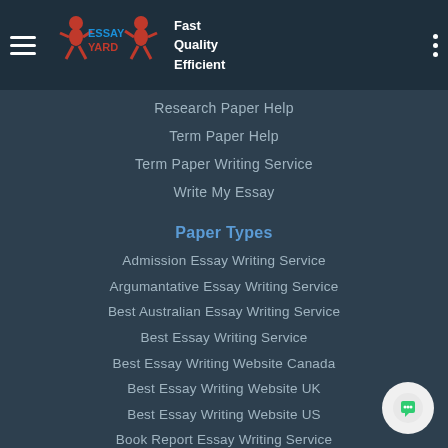[Figure (logo): Essay Yard logo with running figure mascot and text 'ESSAY YARD', with tagline 'Fast Quality Efficient']
Research Paper Help
Term Paper Help
Term Paper Writing Service
Write My Essay
Paper Types
Admission Essay Writing Service
Argumantative Essay Writing Service
Best Australian Essay Writing Service
Best Essay Writing Service
Best Essay Writing Website Canada
Best Essay Writing Website UK
Best Essay Writing Website US
Book Report Essay Writing Service